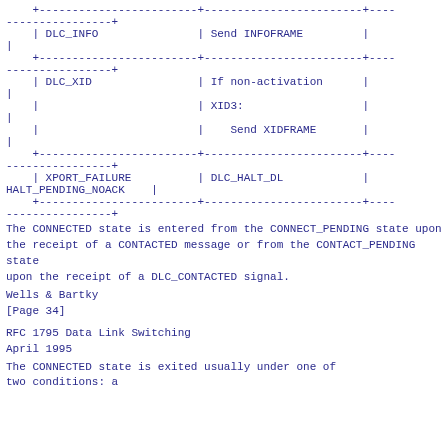| DLC_INFO | Send INFOFRAME | |
| DLC_XID | If non-activation | | | | XID3: | | | | Send XIDFRAME | |
| XPORT_FAILURE | DLC_HALT_DL | HALT_PENDING_NOACK |
The CONNECTED state is entered from the CONNECT_PENDING state upon the receipt of a CONTACTED message or from the CONTACT_PENDING state upon the receipt of a DLC_CONTACTED signal.
Wells                    &                    Bartky
[Page 34]
RFC 1795                              Data Link Switching
April 1995
The CONNECTED state is exited usually under one of two conditions: a